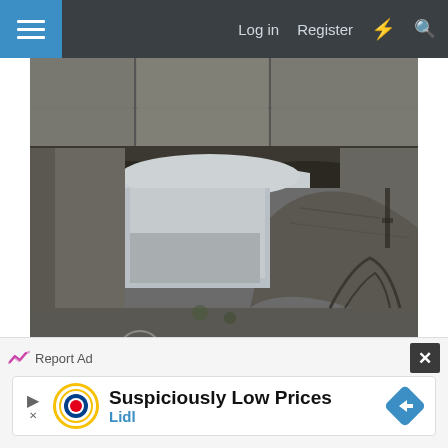Log in   Register
[Figure (photo): Close-up photograph of ancient stone ruins, showing a large stone arch and archway with rubble and smaller arches visible in the background, under an overcast sky. A photobucket watermark is visible on the image.]
Report Ad
[Figure (infographic): Advertisement banner for Lidl showing 'Suspiciously Low Prices' text with Lidl logo and a blue directional diamond arrow icon.]